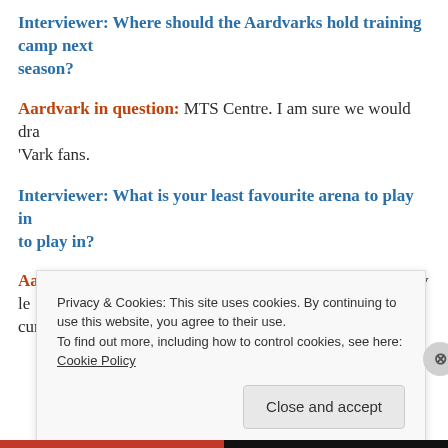Interviewer: Where should the Aardvarks hold training camp next season?
Aardvark in question: MTS Centre. I am sure we would draw a lot of 'Vark fans.
Interviewer: What is your least favourite arena to play in? to play in?
Aardvark in question: Arborg is my favourite. Gimli is my least favourite. Something about the ice is always a little curly.
Privacy & Cookies: This site uses cookies. By continuing to use this website, you agree to their use. To find out more, including how to control cookies, see here: Cookie Policy
Close and accept